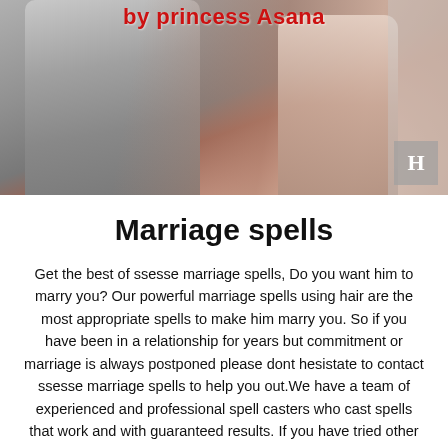[Figure (photo): A couple embracing, with text overlay reading 'by princess Asana' in red]
Marriage spells
Get the best of ssesse marriage spells, Do you want him to marry you? Our powerful marriage spells using hair are the most appropriate spells to make him marry you. So if you have been in a relationship for years but commitment or marriage is always postponed please dont hesistate to contact ssesse marriage spells to help you out.We have a team of experienced and professional spell casters who cast spells that work and with guaranteed results. If you have tried other spell casters and failed, don't think that it's the end of the world. Love requires action, and since time lost is never gained, you should try us now. Do you truly love your